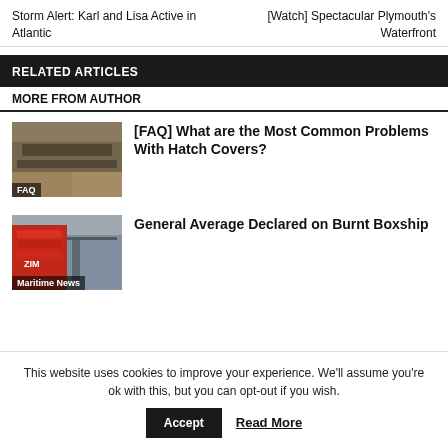Storm Alert: Karl and Lisa Active in Atlantic
[Watch] Spectacular Plymouth's Waterfront
RELATED ARTICLES
MORE FROM AUTHOR
[Figure (photo): Hatch covers on a ship deck with FAQ label overlay]
[FAQ] What are the Most Common Problems With Hatch Covers?
[Figure (photo): Container ship at port with ZIM branding and Maritime News label overlay]
General Average Declared on Burnt Boxship
This website uses cookies to improve your experience. We'll assume you're ok with this, but you can opt-out if you wish.
Accept
Read More